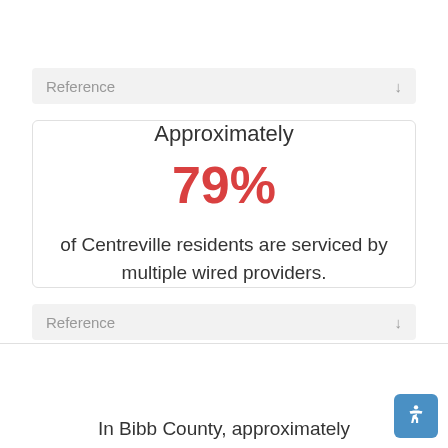Reference
Approximately 79% of Centreville residents are serviced by multiple wired providers.
Reference
In Bibb County, approximately